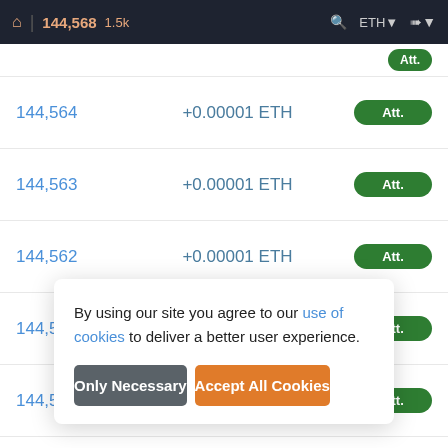144,568  1.5k  ETH
| Block | Amount | Status |
| --- | --- | --- |
| 144,564 | +0.00001 ETH | Att. |
| 144,563 | +0.00001 ETH | Att. |
| 144,562 | +0.00001 ETH | Att. |
| 144,561 | +0.00001 ETH | Att. |
| 144,560 | +0.00001 ETH | Att. |
| 14... |  |  |
By using our site you agree to our use of cookies to deliver a better user experience.
Only Necessary
Accept All Cookies